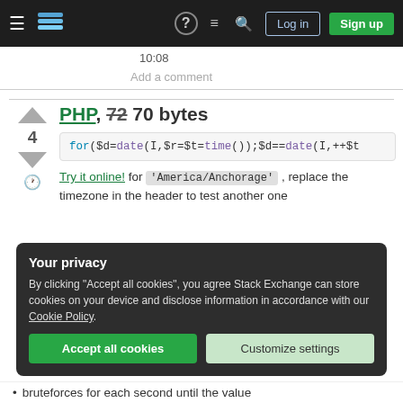Stack Exchange navigation bar with Log in and Sign up buttons
10:08
Add a comment
PHP, 72 70 bytes
for($d=date(I,$r=$t=time());$d==date(I,++$t
Try it online! for 'America/Anchorage' , replace the timezone in the header to test another one
Your privacy
By clicking "Accept all cookies", you agree Stack Exchange can store cookies on your device and disclose information in accordance with our Cookie Policy.
Accept all cookies  Customize settings
bruteforces for each second until the value